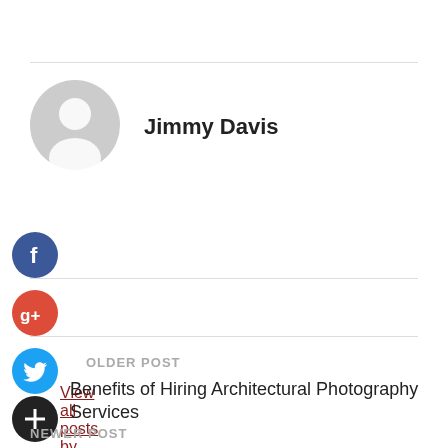[Figure (illustration): Gray placeholder avatar icon with circular head and shoulders silhouette]
Jimmy Davis
View all posts by Jimmy Davis →
[Figure (logo): Facebook social share button - blue circle with white f]
[Figure (logo): Google Plus social share button - red circle with white g+]
[Figure (logo): Twitter social share button - blue circle with white bird]
OLDER POST
[Figure (logo): Black circle with white plus icon]
Benefits of Hiring Architectural Photography Services
NEWER POST